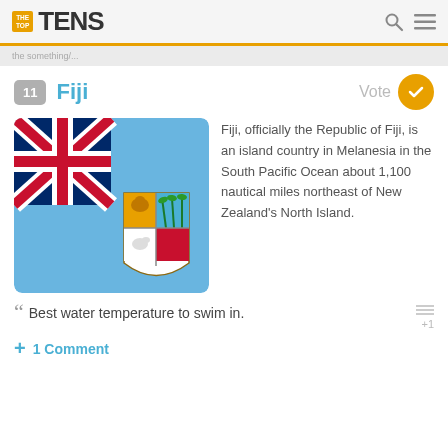THE TOP TENS
the something/...
11 Fiji
[Figure (illustration): Flag of Fiji — light blue background with Union Jack in upper left and Fijian coat of arms shield on the right]
Fiji, officially the Republic of Fiji, is an island country in Melanesia in the South Pacific Ocean about 1,100 nautical miles northeast of New Zealand's North Island.
Best water temperature to swim in.
1 Comment